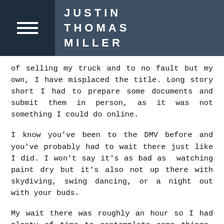JUSTIN THOMAS MILLER
of selling my truck and to no fault but my own, I have misplaced the title. Long story short I had to prepare some documents and submit them in person, as it was not something I could do online.
I know you’ve been to the DMV before and you’ve probably had to wait there just like I did. I won’t say it’s as bad as  watching paint dry but it’s also not up there with skydiving, swing dancing, or a night out with your buds.
My wait there was roughly an hour so I had plenty of time to contemplate some things. How the hell can I make this go by a little faster, have some fun, and be productive at the same time. Well, I had not